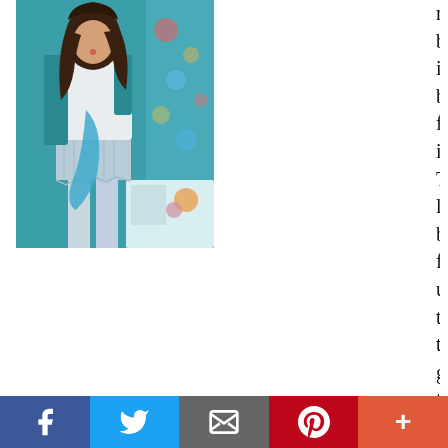[Figure (photo): Young woman in denim shorts and white top holding a blue fabric, standing in front of a colorful background]
marveled by its beauty, followed it. The little being flew up to the graveyard that existed next to the house and made his way to a grave, around which it would hover until it disappeared. Although the tomb was very old, it was clean and well-kept, surrounded by fresh white flowers. After the butterfly disappeared, the young nephew returned to the house with his uncle, to discover that he had died.

The young man ran to tell his mother what had happened, including the strange behavior of the
f  🐦  ✉  p  +